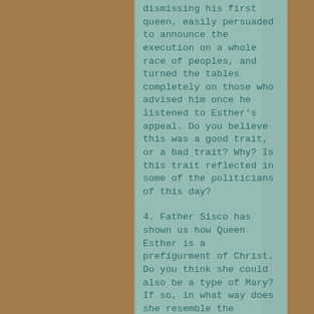dismissing his first queen, easily persuaded to announce the execution on a whole race of peoples, and turned the tables completely on those who advised him once he listened to Esther's appeal. Do you believe this was a good trait, or a bad trait? Why? Is this trait reflected in some of the politicians of this day?
4. Father Sisco has shown us how Queen Esther is a prefigurment of Christ. Do you think she could also be a type of Mary? If so, in what way does she resemble the Blessed Mother?
5. In preparation for interceding for her people, which could have resulted in her execution and that of her people, Esther, her companions, and all the Jewish people fasted, put on sackcloth and mourned and